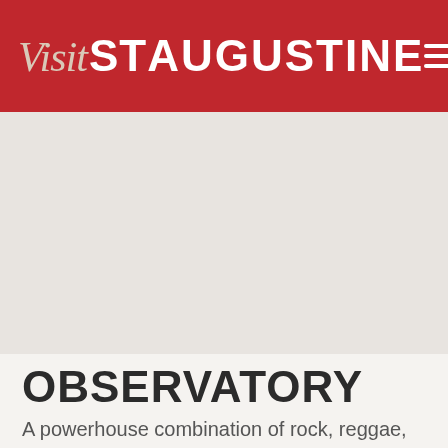Visit St Augustine
[Figure (photo): Large light gray placeholder image area representing a photo]
OBSERVATORY
A powerhouse combination of rock, reggae, ska, punk, and blues, St. Augustine's Observatory is